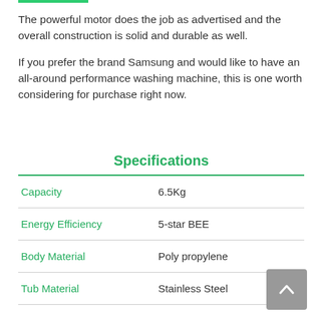The powerful motor does the job as advertised and the overall construction is solid and durable as well.
If you prefer the brand Samsung and would like to have an all-around performance washing machine, this is one worth considering for purchase right now.
Specifications
|  |  |
| --- | --- |
| Capacity | 6.5Kg |
| Energy Efficiency | 5-star BEE |
| Body Material | Poly propylene |
| Tub Material | Stainless Steel |